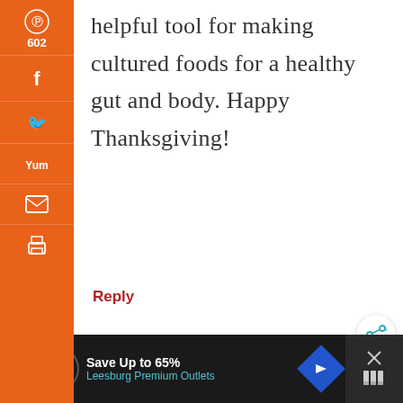helpful tool for making cultured foods for a healthy gut and body. Happy Thanksgiving!
Reply
VICTORIA SAYS
[Figure (screenshot): Social share sidebar with Pinterest (602), Facebook, Twitter, Yummly, email, and print icons on orange background]
602 SHARES
[Figure (screenshot): Advertisement bar: Save Up to 65% Leesburg Premium Outlets]